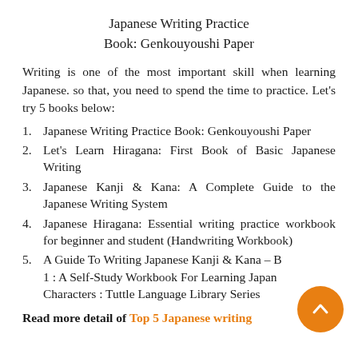Japanese Writing Practice Book: Genkouyoushi Paper
Writing is one of the most important skill when learning Japanese. so that, you need to spend the time to practice. Let's try 5 books below:
Japanese Writing Practice Book: Genkouyoushi Paper
Let's Learn Hiragana: First Book of Basic Japanese Writing
Japanese Kanji & Kana: A Complete Guide to the Japanese Writing System
Japanese Hiragana: Essential writing practice workbook for beginner and student (Handwriting Workbook)
A Guide To Writing Japanese Kanji & Kana – B 1 : A Self-Study Workbook For Learning Japan Characters : Tuttle Language Library Series
Read more detail of Top 5 Japanese writing